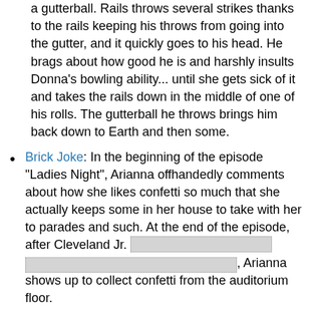a gutterball. Rails throws several strikes thanks to the rails keeping his throws from going into the gutter, and it quickly goes to his head. He brags about how good he is and harshly insults Donna's bowling ability... until she gets sick of it and takes the rails down in the middle of one of his rolls. The gutterball he throws brings him back down to Earth and then some.
Brick Joke: In the beginning of the episode "Ladies Night", Arianna offhandedly comments about how she likes confetti so much that she actually keeps some in her house to take with her to parades and such. At the end of the episode, after Cleveland Jr. [spoiler], Arianna shows up to collect confetti from the auditorium floor.
Broken Aesop: The moral of the episode, "The Hurricane," was suggested to be the importance of keeping an open mind and respecting the view points of others. The problem is that the one who learned the lesson (Cleveland Junior) was the one being persecuted by the